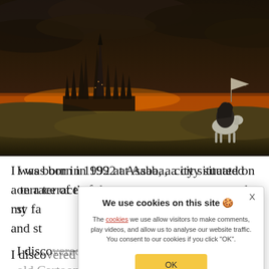[Figure (illustration): Fantasy digital illustration showing a dark gothic castle/city with tall spires illuminated by fiery orange glow on the horizon at dusk/night with dramatic storm clouds. On the right side, a cloaked figure on horseback carries a flag/banner while surveying the distant city from a grassy hillside.]
I was born in 1992 at Asaba, a city situated on a terrace of the Niger River... my fa... and st...
I disco..ered Illustration in the 90s watching old Cartoon...
We use cookies on this site 🍪
The cookies we use allow visitors to make comments, play videos, and allow us to analyse our website traffic. You consent to our cookies if you click "OK".
OK